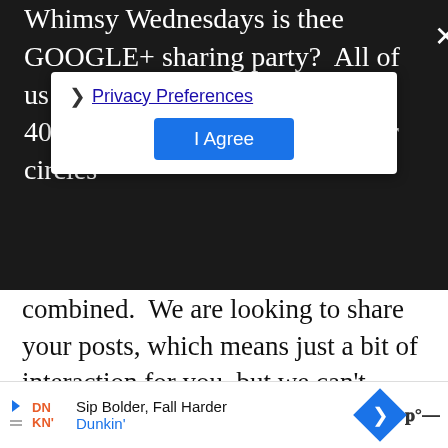Whimsy Wednesdays is thee GOOGLE+ sharing party? All of us are active on G+ with over 400,000 people adding us in their circles combined.  We are looking to share your posts, which means just a bit of interaction for you, but we can't share if you're not there!
[Figure (screenshot): Privacy Preferences cookie consent overlay with 'I Agree' button and close X button]
Here is what's going on at Oh My! Creative…
[Figure (screenshot): Share button (circular, white) with share icon]
[Figure (screenshot): What's Next widget showing '50 Couples Halloween...' with thumbnail]
After my son came home from school last
[Figure (screenshot): Bottom advertisement bar for Dunkin' - 'Sip Bolder, Fall Harder']